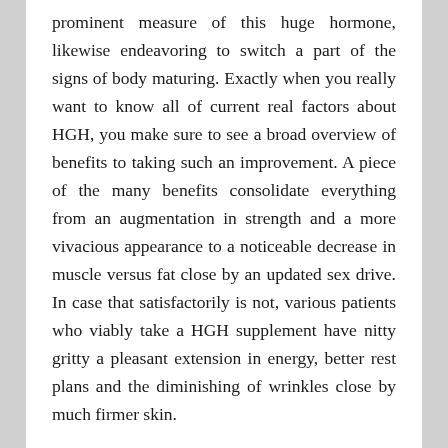prominent measure of this huge hormone, likewise endeavoring to switch a part of the signs of body maturing. Exactly when you really want to know all of current real factors about HGH, you make sure to see a broad overview of benefits to taking such an improvement. A piece of the many benefits consolidate everything from an augmentation in strength and a more vivacious appearance to a noticeable decrease in muscle versus fat close by an updated sex drive. In case that satisfactorily is not, various patients who viably take a HGH supplement have nitty gritty a pleasant extension in energy, better rest plans and the diminishing of wrinkles close by much firmer skin.
[Figure (photo): Partial image visible at the bottom of the page, showing a warm-toned photograph (person or object), cropped.]